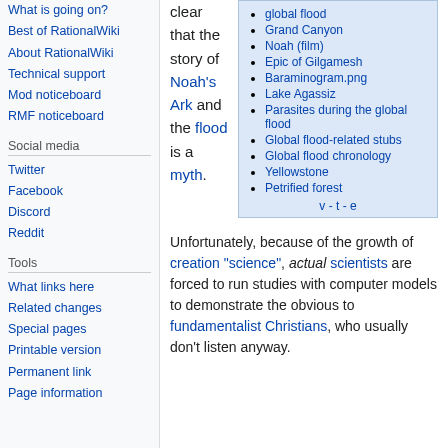What is going on?
Best of RationalWiki
About RationalWiki
Technical support
Mod noticeboard
RMF noticeboard
Social media
Twitter
Facebook
Discord
Reddit
Tools
What links here
Related changes
Special pages
Printable version
Permanent link
Page information
clear that the story of Noah's Ark and the flood is a myth.
[Figure (other): Infobox with list of related links: global flood, Grand Canyon, Noah (film), Epic of Gilgamesh, Baraminogram.png, Lake Agassiz, Parasites during the global flood, Global flood-related stubs, Global flood chronology, Yellowstone, Petrified forest. Footer: v - t - e]
Unfortunately, because of the growth of creation "science", actual scientists are forced to run studies with computer models to demonstrate the obvious to fundamentalist Christians, who usually don't listen anyway.